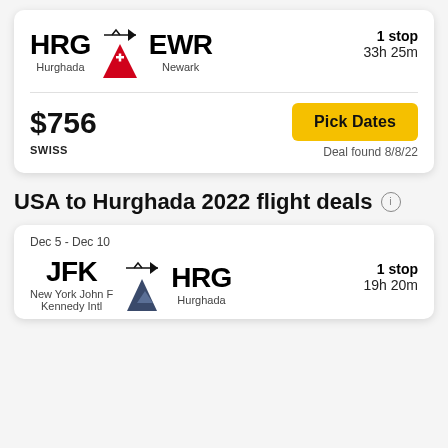HRG → EWR, Hurghada to Newark, 1 stop, 33h 25m
$756, SWISS, Pick Dates, Deal found 8/8/22
USA to Hurghada 2022 flight deals
Dec 5 - Dec 10
JFK → HRG, New York John F Kennedy Intl to Hurghada, 1 stop, 19h 20m